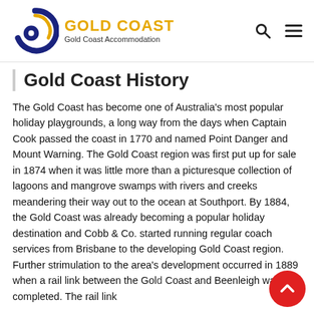GOLD COAST — Gold Coast Accommodation
Gold Coast History
The Gold Coast has become one of Australia's most popular holiday playgrounds, a long way from the days when Captain Cook passed the coast in 1770 and named Point Danger and Mount Warning. The Gold Coast region was first put up for sale in 1874 when it was little more than a picturesque collection of lagoons and mangrove swamps with rivers and creeks meandering their way out to the ocean at Southport. By 1884, the Gold Coast was already becoming a popular holiday destination and Cobb & Co. started running regular coach services from Brisbane to the developing Gold Coast region. Further strimulation to the area's development occurred in 1889 when a rail link between the Gold Coast and Beenleigh was completed. The rail link